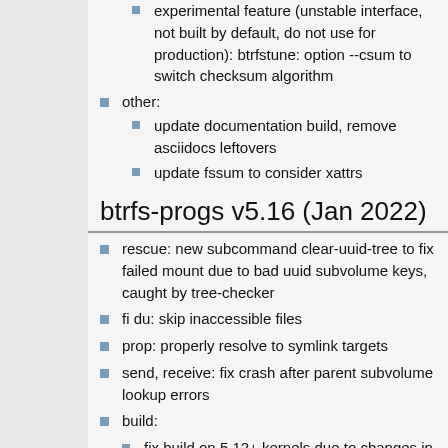experimental feature (unstable interface, not built by default, do not use for production): btrfstune: option --csum to switch checksum algorithm
other:
update documentation build, remove asciidocs leftovers
update fssum to consider xattrs
btrfs-progs v5.16 (Jan 2022)
rescue: new subcommand clear-uuid-tree to fix failed mount due to bad uuid subvolume keys, caught by tree-checker
fi du: skip inaccessible files
prop: properly resolve to symlink targets
send, receive: fix crash after parent subvolume lookup errors
build:
fix build on 5.12+ kernels due to changes in linux/kernel.h
fix build on musl with old kernel headers
other:
error handling fixes, cleanups